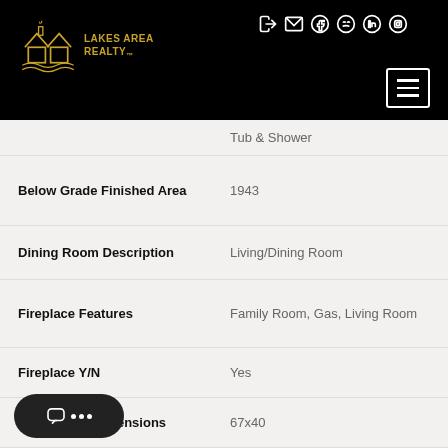[Figure (logo): Lakes Area Realty logo in gold on black header with social media icons]
| Property Feature | Value |
| --- | --- |
|  | Tub & Shower |
| Below Grade Finished Area | 1943 |
| Dining Room Description | Living/Dining Room |
| Fireplace Features | Family Room, Gas, Living Room |
| Fireplace Y/N | Yes |
| Foundation Dimensions | 67x40 |
|  | Natural Gas |